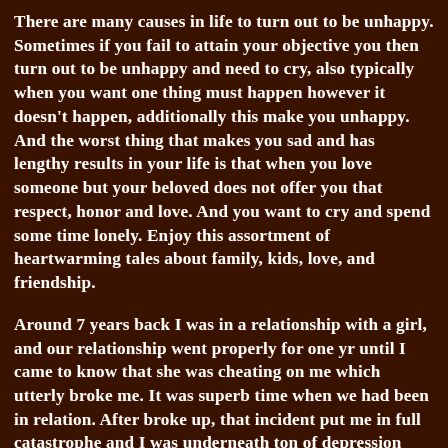There are many causes in life to turn out to be unhappy. Sometimes if you fail to attain your objective you then turn out to be unhappy and need to cry, also typically when you want one thing must happen however it doesn't happen, additionally this make you unhappy. And the worst thing that makes you sad and has lengthy results in your life is that when you love someone but your beloved does not offer you that respect, honor and love. And you want to cry and spend some time lonely. Enjoy this assortment of heartwarming tales about family, kids, love, and friendship.
Around 7 years back I was in a relationship with a girl, and our relationship went properly for one yr until I came to know that she was cheating on me which utterly broke me. It was superb time when we had been in relation. After broke up, that incident put me in full catastrophe and I was underneath ton of depression and unhappiness. It took plenty of time for me to one way or the other recuperate that scenario but I misplaced faith on women and love. But day-to-day steadily I